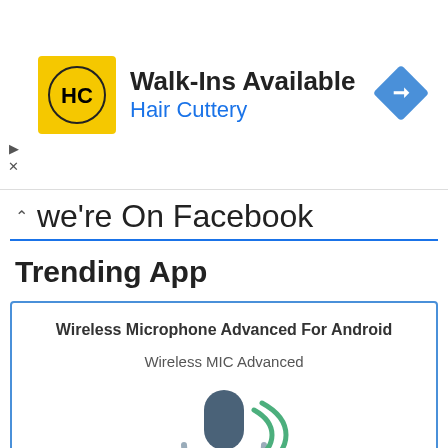[Figure (advertisement): Hair Cuttery ad banner with yellow logo showing HC initials, text 'Walk-Ins Available' and 'Hair Cuttery' in blue, blue diamond arrow icon on right, and ad control icons (play/close) on left.]
we're On Facebook
Trending App
[Figure (screenshot): App card for 'Wireless Microphone Advanced For Android' showing app name, subtitle 'Wireless MIC Advanced', and wireless microphone icon (dark blue mic with green wifi-style arcs on right side and grey stand/base).]